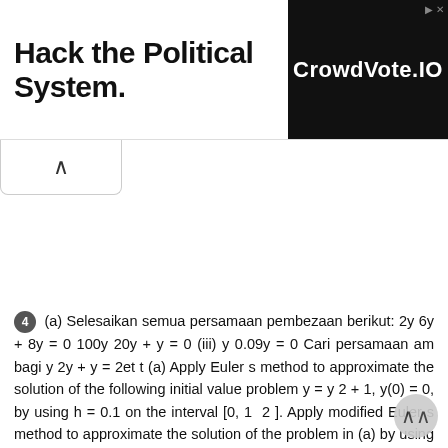[Figure (screenshot): Advertisement banner: 'Hack the Political System.' on left, 'CrowdVote.IO' logo on right with dark background. Small arrow/close icon at top right.]
[Figure (screenshot): A tab or collapsed panel below the ad banner, showing an upward chevron (^) icon indicating it can be expanded or collapsed.]
4 (a) Selesaikan semua persamaan pembezaan berikut: 2y 6y + 8y = 0 100y 20y + y = 0 (iii) y 0.09y = 0 Cari persamaan am bagi y 2y + y = 2et t (a) Apply Euler s method to approximate the solution of the following initial value problem y = y 2 + 1, y(0) = 0, by using h = 0.1 on the interval [0, 1 2 ]. Apply modified Euler s method to approximate the solution of the problem in (a) by using h = 0.1 on the interval [0, 1 2 ]. Compare your solutions in (a)